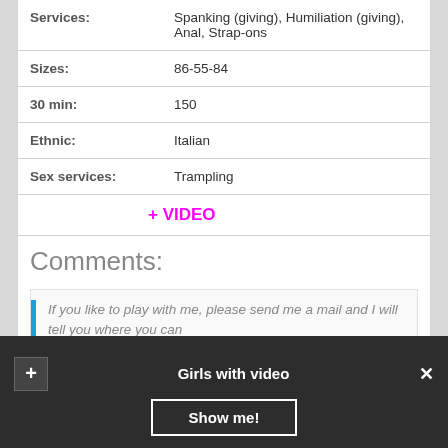| Field | Value |
| --- | --- |
| Services: | Spanking (giving), Humiliation (giving), Anal, Strap-ons |
| Sizes: | 86-55-84 |
| 30 min: | 150 |
| Ethnic: | Italian |
| Sex services: | Trampling |
|  | + VIDEO |
Comments:
If you like to play with me, please send me a mail and I will tell you where you can...
Girls with video
Show me!